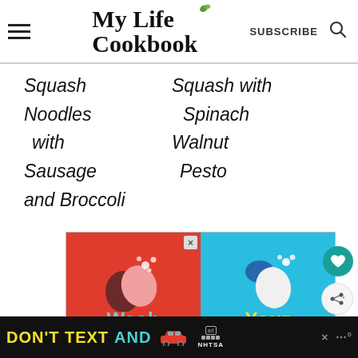My Life Cookbook — SUBSCRIBE
Squash Noodles with Sausage and Broccoli
Squash with Spinach Walnut Pesto
[Figure (illustration): Advertisement showing two hands being washed — left panel red background with text 'Wash', right panel cyan background with text 'Your']
[Figure (illustration): Bottom banner ad: 'DON'T TEXT AND' with car icon and NHTSA logo]